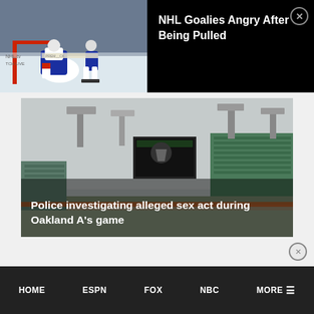[Figure (photo): NHL hockey players on ice rink, Montreal Canadiens players near the goal net]
NHL Goalies Angry After Being Pulled
[Figure (photo): Baseball stadium with hazy sky, Oakland A's stadium with light towers and scoreboard visible]
Police investigating alleged sex act during Oakland A's game
HOME   ESPN   FOX   NBC   MORE